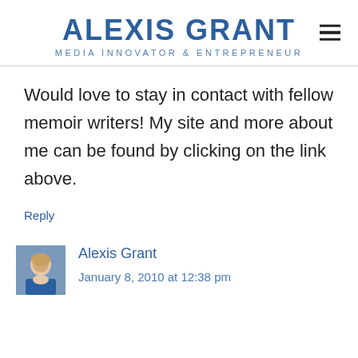ALEXIS GRANT
MEDIA INNOVATOR & ENTREPRENEUR
Would love to stay in contact with fellow memoir writers! My site and more about me can be found by clicking on the link above.
Reply
[Figure (photo): Small avatar photo of Alexis Grant, a woman with blonde hair]
Alexis Grant
January 8, 2010 at 12:38 pm